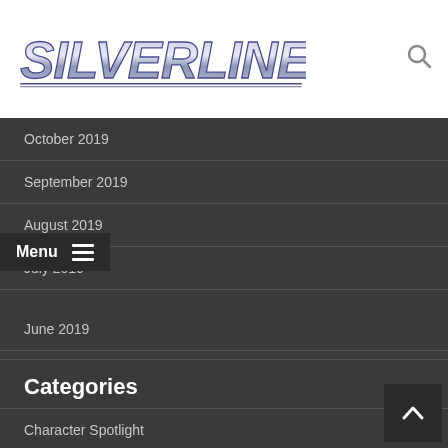[Figure (logo): Silverline logo in blue metallic italic text on white background]
October 2019
September 2019
August 2019
July 2019
June 2019
Categories
Character Spotlight
Comics Culture
Content Spotlight
Craft of comic creating